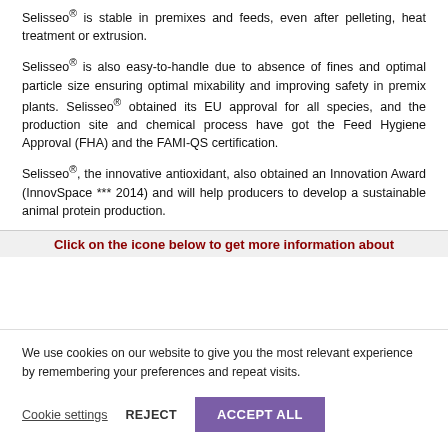Selisseo® is stable in premixes and feeds, even after pelleting, heat treatment or extrusion.
Selisseo® is also easy-to-handle due to absence of fines and optimal particle size ensuring optimal mixability and improving safety in premix plants. Selisseo® obtained its EU approval for all species, and the production site and chemical process have got the Feed Hygiene Approval (FHA) and the FAMI-QS certification.
Selisseo®, the innovative antioxidant, also obtained an Innovation Award (InnovSpace *** 2014) and will help producers to develop a sustainable animal protein production.
Click on the icone below to get more information about
We use cookies on our website to give you the most relevant experience by remembering your preferences and repeat visits.